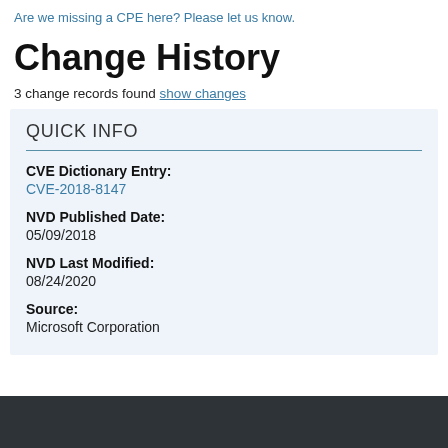Are we missing a CPE here? Please let us know.
Change History
3 change records found show changes
QUICK INFO
CVE Dictionary Entry:
CVE-2018-8147
NVD Published Date:
05/09/2018
NVD Last Modified:
08/24/2020
Source:
Microsoft Corporation